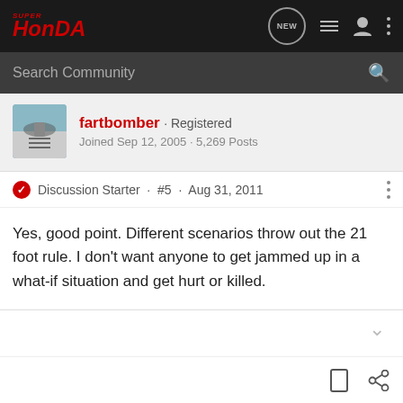SuperHonda - Search Community
fartbomber · Registered
Joined Sep 12, 2005 · 5,269 Posts
Discussion Starter · #5 · Aug 31, 2011
Yes, good point. Different scenarios throw out the 21 foot rule. I don't want anyone to get jammed up in a what-if situation and get hurt or killed.